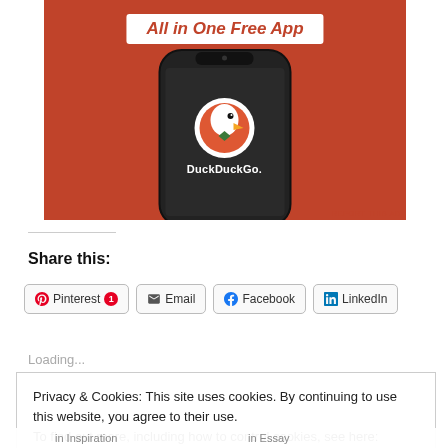[Figure (illustration): DuckDuckGo advertisement showing 'All in One Free App' on an orange background with a smartphone displaying the DuckDuckGo logo and text. 'REPORT THIS AD' text appears at bottom right.]
REPORT THIS AD
Share this:
Pinterest 1 | Email | Facebook | LinkedIn
Loading...
Privacy & Cookies: This site uses cookies. By continuing to use this website, you agree to their use.
To find out more, including how to control cookies, see here: Cookie Policy
Close and accept
in  Inspiration
in  Essay